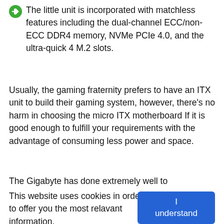The little unit is incorporated with matchless features including the dual-channel ECC/non-ECC DDR4 memory, NVMe PCIe 4.0, and the ultra-quick 4 M.2 slots.
Usually, the gaming fraternity prefers to have an ITX unit to build their gaming system, however, there’s no harm in choosing the micro ITX motherboard If it is good enough to fulfill your requirements with the advantage of consuming less power and space.
The Gigabyte has done extremely well to
This website uses cookies in order to offer you the most relavant information.
I understand